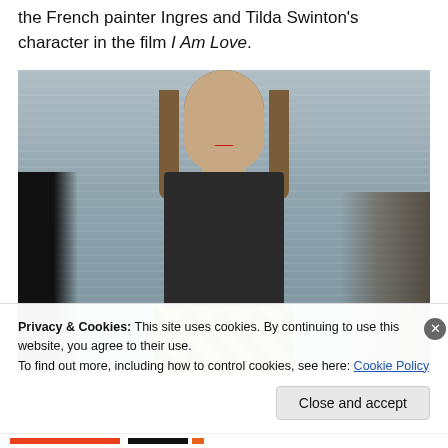the French painter Ingres and Tilda Swinton's character in the film I Am Love.
[Figure (photo): A fashion runway photo of a model with slicked-back hair and red lips, wearing a dark navy/black short-sleeve top and a yellow-green patterned skirt, walking on a runway with a blue-grey background. A blurred figure is visible in the background to the right.]
Privacy & Cookies: This site uses cookies. By continuing to use this website, you agree to their use.
To find out more, including how to control cookies, see here: Cookie Policy
Close and accept